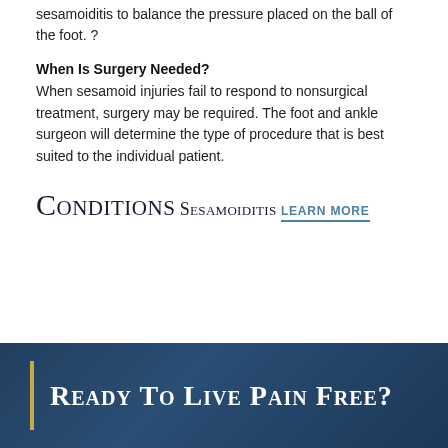sesamoiditis to balance the pressure placed on the ball of the foot. ?
When Is Surgery Needed?
When sesamoid injuries fail to respond to nonsurgical treatment, surgery may be required. The foot and ankle surgeon will determine the type of procedure that is best suited to the individual patient.
Conditions
Sesamoiditis
LEARN MORE
Ready To Live Pain Free?